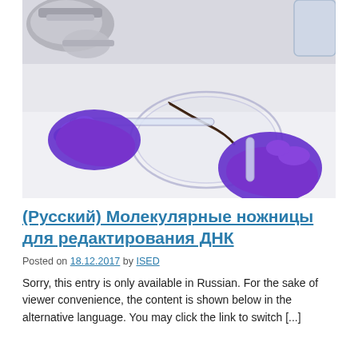[Figure (photo): Laboratory photo showing gloved hands (purple latex gloves) using a glass pipette/tube to handle a hair sample on a petri dish, with metal lab instruments in the background on a white surface.]
(Русский) Молекулярные ножницы для редактирования ДНК
Posted on 18.12.2017 by ISED
Sorry, this entry is only available in Russian. For the sake of viewer convenience, the content is shown below in the alternative language. You may click the link to switch [...]